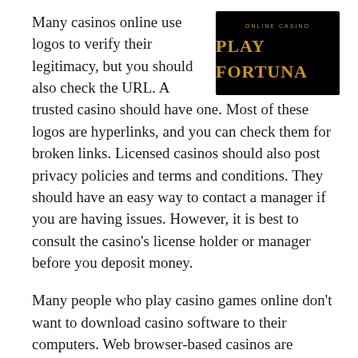Many casinos online use logos to verify their legitimacy, but you should also check the URL. A trusted casino should have one. Most of these logos are hyperlinks, and you can check them for broken links. Licensed casinos should also post privacy policies and terms and conditions. They should have an easy way to contact a manager if you are having issues. However, it is best to consult the casino’s license holder or manager before you deposit money.
[Figure (logo): Play Fortuna Online Casino logo: black background with gold text reading 'ONLINE CASINO' above 'PLAY FORTUNA' in large gold letters]
Many people who play casino games online don’t want to download casino software to their computers. Web browser-based casinos are convenient for this reason, and they can be accessed from a number of computers. In addition, this